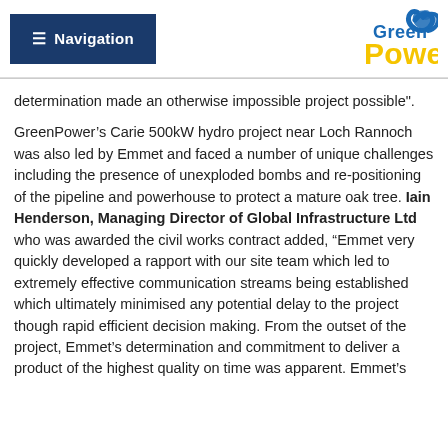Navigation | GreenPower
determination made an otherwise impossible project possible".
GreenPower’s Carie 500kW hydro project near Loch Rannoch was also led by Emmet and faced a number of unique challenges including the presence of unexploded bombs and re-positioning of the pipeline and powerhouse to protect a mature oak tree. Iain Henderson, Managing Director of Global Infrastructure Ltd who was awarded the civil works contract added, “Emmet very quickly developed a rapport with our site team which led to extremely effective communication streams being established which ultimately minimised any potential delay to the project though rapid efficient decision making. From the outset of the project, Emmet’s determination and commitment to deliver a product of the highest quality on time was apparent. Emmet’s